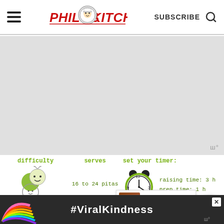PHILOS KITCHEN — SUBSCRIBE
[Figure (illustration): Gray advertisement/placeholder area with Wunderkind logo watermark in top right]
difficulty
[Figure (illustration): Difficulty icon: cartoon character with green circles as head/body]
serves
16 to 24 pitas
set your timer:
raising time: 3 h
prep time: 1 h
[Figure (illustration): Alarm clock icon with green rim showing time around 10:10]
If you like this recipe, please CLICK
[Figure (infographic): Bottom advertisement bar with rainbow illustration and #ViralKindness text on dark background]